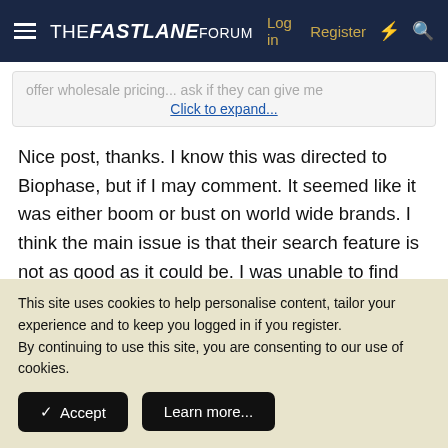THE FASTLANE FORUM  Log in  Register
offer wholesale pricing... ask if they can give me  Click to expand...
Nice post, thanks. I know this was directed to Biophase, but if I may comment. It seemed like it was either boom or bust on world wide brands. I think the main issue is that their search feature is not as good as it could be. I was unable to find some items using their search box, or if I did it was cheaper quality. However when I started going through the suppliers
This site uses cookies to help personalise content, tailor your experience and to keep you logged in if you register.
By continuing to use this site, you are consenting to our use of cookies.
✓ Accept
Learn more...